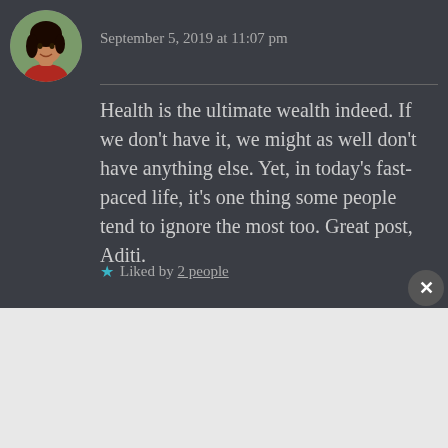[Figure (photo): Circular avatar photo of a young woman with dark hair wearing a red top, outdoors background]
September 5, 2019 at 11:07 pm
Health is the ultimate wealth indeed. If we don't have it, we might as well don't have anything else. Yet, in today's fast-paced life, it's one thing some people tend to ignore the most too. Great post, Aditi.
★ Liked by 2 people
Advertisements
[Figure (screenshot): DuckDuckGo advertisement banner with orange background. Text: Search, browse, and email with more privacy. All in One Free App. Shows a smartphone with DuckDuckGo logo.]